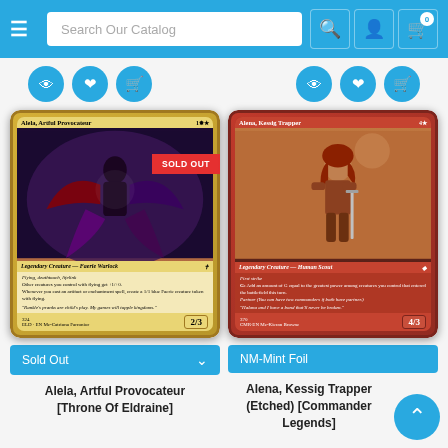Search Our Catalog
[Figure (screenshot): MTG card: Alela, Artful Provocateur - Legendary Creature Faerie Warlock, 2/3, with SOLD OUT banner overlay]
[Figure (screenshot): MTG card: Alena, Kessig Trapper (Etched) - Legendary Creature Human Scout, 4/3, NM-Mint Foil]
Sold Out
NM-Mint Foil
Alela, Artful Provocateur [Throne Of Eldraine]
Alena, Kessig Trapper (Etched) [Commander Legends]